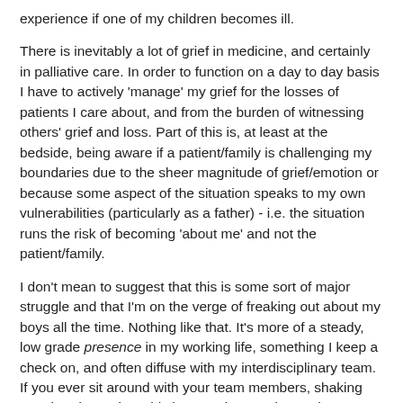experience if one of my children becomes ill.
There is inevitably a lot of grief in medicine, and certainly in palliative care. In order to function on a day to day basis I have to actively 'manage' my grief for the losses of patients I care about, and from the burden of witnessing others' grief and loss. Part of this is, at least at the bedside, being aware if a patient/family is challenging my boundaries due to the sheer magnitude of grief/emotion or because some aspect of the situation speaks to my own vulnerabilities (particularly as a father) - i.e. the situation runs the risk of becoming 'about me' and not the patient/family.
I don't mean to suggest that this is some sort of major struggle and that I'm on the verge of freaking out about my boys all the time. Nothing like that. It's more of a steady, low grade presence in my working life, something I keep a check on, and often diffuse with my interdisciplinary team. If you ever sit around with your team members, shaking your heads, saying This is a tough one - that's what I mean by diffusing it. But there's always some grief with me, and for professional sanity and to provide the best care for my